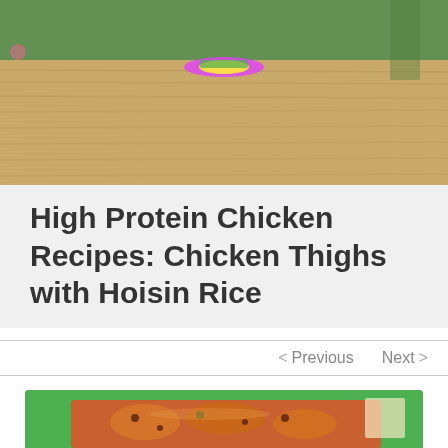[Figure (photo): Photo of a wooden table or deck surface with some colorful items in the center, outdoor setting with greenery in the background]
High Protein Chicken Recipes: Chicken Thighs with Hoisin Rice
< Previous   Next >
[Figure (photo): Photo of chicken thighs with hoisin rice dish, showing roasted chicken pieces with dried fruits and vegetables in a baking dish, with a green header/border card]